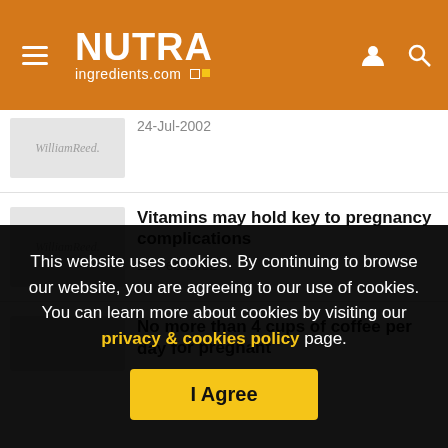NUTRAingredients.com
24-Jul-2002
Vitamins may hold key to pregnancy complications
11-Feb-2002
No more than 4 cups of coffee per day for pregnant
This website uses cookies. By continuing to browse our website, you are agreeing to our use of cookies. You can learn more about cookies by visiting our privacy & cookies policy page.
I Agree